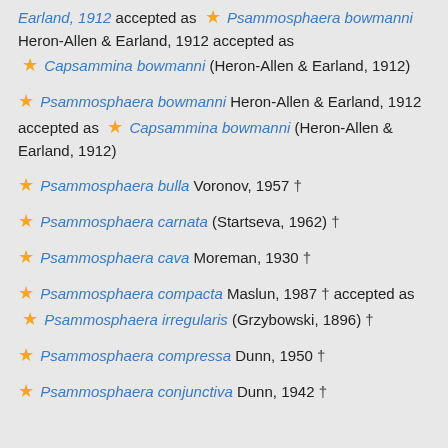Earland, 1912 accepted as ★ Psammosphaera bowmanni Heron-Allen & Earland, 1912 accepted as ★ Capsammina bowmanni (Heron-Allen & Earland, 1912)
★ Psammosphaera bowmanni Heron-Allen & Earland, 1912 accepted as ★ Capsammina bowmanni (Heron-Allen & Earland, 1912)
★ Psammosphaera bulla Voronov, 1957 †
★ Psammosphaera carnata (Startseva, 1962) †
★ Psammosphaera cava Moreman, 1930 †
★ Psammosphaera compacta Maslun, 1987 † accepted as ★ Psammosphaera irregularis (Grzybowski, 1896) †
★ Psammosphaera compressa Dunn, 1950 †
★ Psammosphaera conjunctiva Dunn, 1942 †